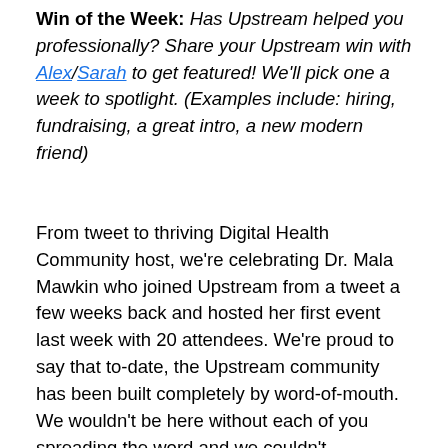Win of the Week: Has Upstream helped you professionally? Share your Upstream win with Alex/Sarah to get featured! We'll pick one a week to spotlight. (Examples include: hiring, fundraising, a great intro, a new modern friend)
From tweet to thriving Digital Health Community host, we're celebrating Dr. Mala Mawkin who joined Upstream from a tweet a few weeks back and hosted her first event last week with 20 attendees. We're proud to say that to-date, the Upstream community has been built completely by word-of-mouth. We wouldn't be here without each of you spreading the word and we couldn't